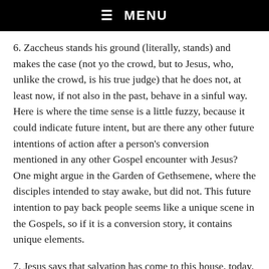☰  MENU
6. Zaccheus stands his ground (literally, stands) and makes the case (not yo the crowd, but to Jesus, who, unlike the crowd, is his true judge) that he does not, at least now, if not also in the past, behave in a sinful way. Here is where the time sense is a little fuzzy, because it could indicate future intent, but are there any other future intentions of action after a person's conversion mentioned in any other Gospel encounter with Jesus? One might argue in the Garden of Gethsemene, where the disciples intended to stay awake, but did not. This future intention to pay back people seems like a unique scene in the Gospels, so if it is a conversion story, it contains unique elements.
7. Jesus says that salvation has come to this house, today. This can be, as an aside, be take in a literal sense, since Jesus is Salvation. It could, also mean that, having put his trust in Jesus, Zacchrus is saved. This does follow the pattern of many other